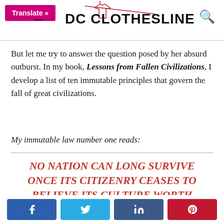DC CLOTHESLINE
But let me try to answer the question posed by her absurd outburst. In my book, Lessons from Fallen Civilizations, I develop a list of ten immutable principles that govern the fall of great civilizations.
My immutable law number one reads:
NO NATION CAN LONG SURVIVE ONCE ITS CITIZENRY CEASES TO BELIEVE ITS CULTURE WORTH SAVING